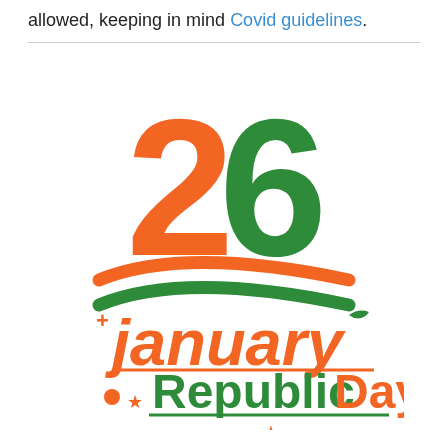allowed, keeping in mind Covid guidelines.
[Figure (logo): 26 January Republic Day logo with orange '2' and green '6', Indian tricolor swoosh, orange 'january' text, green 'Republic' and orange 'Day' text, decorative stars and dot elements, Karnataka State Open University watermark at bottom]
karnatakastateopenuniversity.in